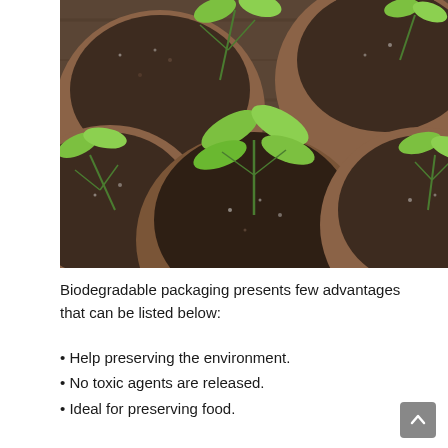[Figure (photo): Close-up photograph of several small biodegradable peat pots filled with dark soil, each with green seedlings sprouting, placed on a wooden surface.]
Biodegradable packaging presents few advantages that can be listed below:
• Help preserving the environment.
• No toxic agents are released.
• Ideal for preserving food.